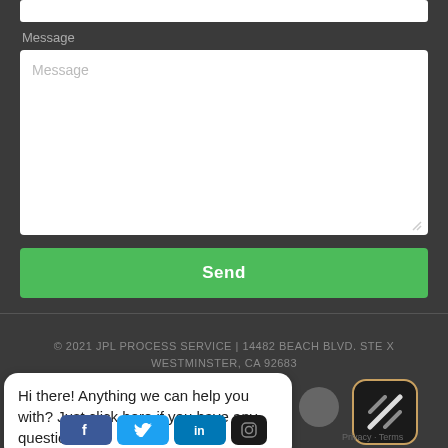Message
[Figure (screenshot): Message text area input field (white rectangle with 'Message' placeholder text)]
Send
© 2021 JPL PROCESS SERVICE | 14482 BEACH BLVD. STE X WESTMINSTER, CA 92683
Hi there! Anything we can help you with? Just click here if you have any questions!
[Figure (screenshot): Chat widget popup with social media icons (Facebook, Twitter, LinkedIn, Instagram) and a chat app icon at bottom right with Privacy - Terms label]